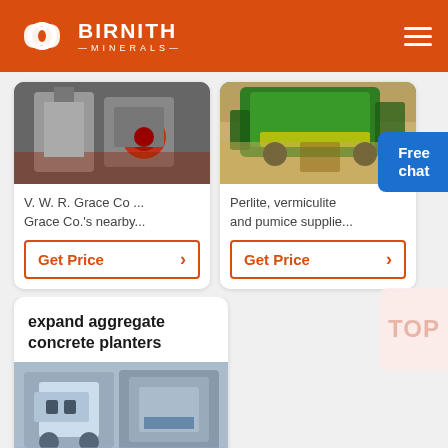BIRNITH MINERALS
[Figure (screenshot): Industrial crusher machine, grayscale, with red circular element]
V. W. R. Grace Co ... Grace Co.'s nearby...
Get Price
[Figure (screenshot): Green mining/screening machine working on sand/aggregate]
Perlite, vermiculite and pumice supplie...
Get Price
Free chat
expand aggregate concrete planters
[Figure (photo): Industrial concrete forming machine, grey, metallic]